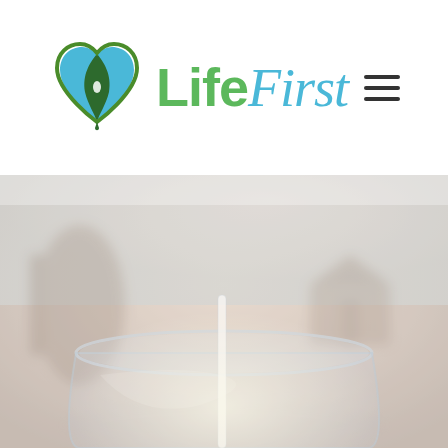[Figure (logo): LifeFirst logo: green and blue heart with leaf icon on the left, 'Life' in green bold sans-serif and 'First' in blue italic serif script on the right. Hamburger menu icon (three horizontal lines) in the upper right corner.]
[Figure (photo): Blurred background photo of a glass of water with a straw, taken in soft warm/cool light with an outdoor background. The image has a dreamy, soft-focus aesthetic with peach and blue tones.]